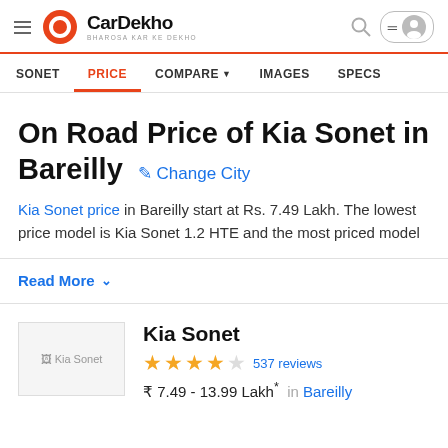CarDekho BHAROSA KAR KE DEKHO
SONET | PRICE | COMPARE | IMAGES | SPECS
On Road Price of Kia Sonet in Bareilly Change City
Kia Sonet price in Bareilly start at Rs. 7.49 Lakh. The lowest price model is Kia Sonet 1.2 HTE and the most priced model
Read More
Kia Sonet
537 reviews
₹ 7.49 - 13.99 Lakh* in Bareilly